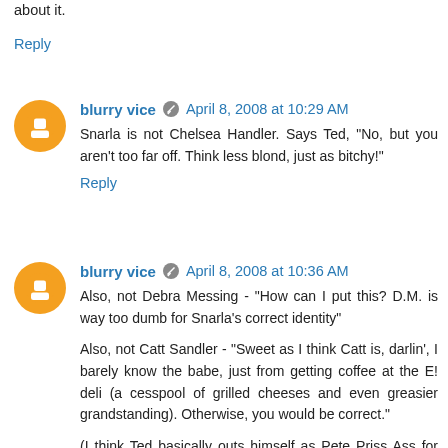about it.
Reply
blurry vice  April 8, 2008 at 10:29 AM
Snarla is not Chelsea Handler. Says Ted, "No, but you aren't too far off. Think less blond, just as bitchy!"
Reply
blurry vice  April 8, 2008 at 10:36 AM
Also, not Debra Messing - "How can I put this? D.M. is way too dumb for Snarla's correct identity"
Also, not Catt Sandler - "Sweet as I think Catt is, darlin', I barely know the babe, just from getting coffee at the E! deli (a cesspool of grilled cheeses and even greasier grandstanding). Otherwise, you would be correct."
(I think Ted basically outs himself as Pete Priss Ass for this